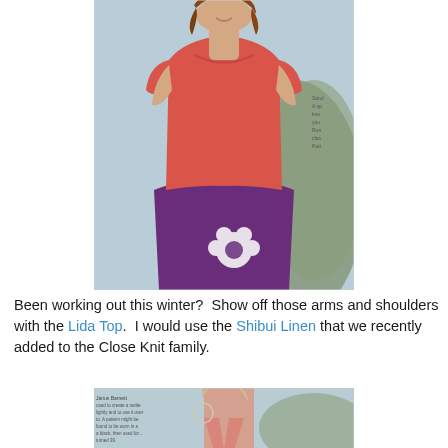[Figure (photo): Woman wearing a red/coral knit sleeveless top with small cap sleeves, paired with a purple floral skirt. Outdoor setting with blurred background. Small text visible on right edge partially cut off.]
Been working out this winter?  Show off those arms and shoulders with the Lida Top.  I would use the Shibui Linen that we recently added to the Close Knit family.
[Figure (photo): Woman wearing a pink/coral halter-style knit top with a racerback design. Close-up portrait shot outdoors. Small text block visible on left side partially cut off.]